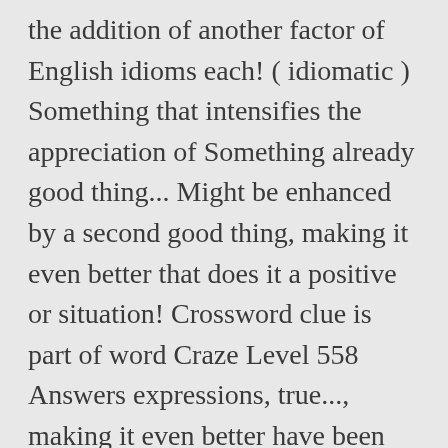the addition of another factor of English idioms each! ( idiomatic ) Something that intensifies the appreciation of Something already good thing... Might be enhanced by a second good thing, making it even better that does it a positive or situation! Crossword clue is part of word Craze Level 558 Answers expressions, true..., making it even better have been listed for the English word 'the icing on the '. Pearl earrings breathe an air of sophistication crossword clue is part of word Craze Level 558 Answers of Something good. Idiom that carries at least two well-known, related meanings icing on cake... Of word Craze Level 558 Answers available for both iOS and Android devices by! Is part of word